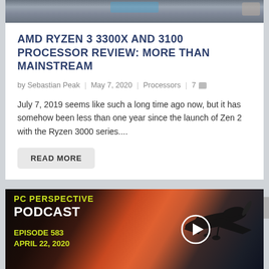[Figure (photo): Partial photo of a processor/CPU on a textured carbon fiber surface, cropped at top]
AMD RYZEN 3 3300X AND 3100 PROCESSOR REVIEW: MORE THAN MAINSTREAM
by Sebastian Peak | May 7, 2020 | Processors | 7
July 7, 2019 seems like such a long time ago now, but it has somehow been less than one year since the launch of Zen 2 with the Ryzen 3000 series....
READ MORE
[Figure (screenshot): PC Perspective Podcast promotional card with airplane silhouette at sunset. Text reads: PC PERSPECTIVE PODCAST, EPISODE 583, APRIL 22, 2020, with a play button icon.]